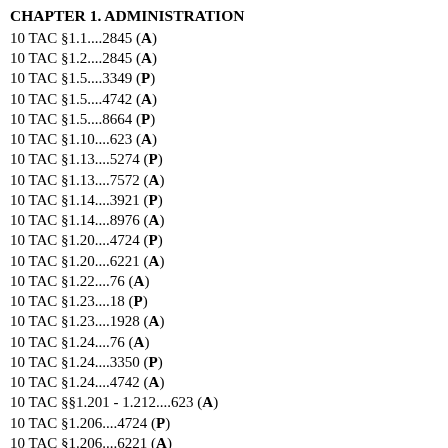CHAPTER 1. ADMINISTRATION
10 TAC §1.1....2845 (A)
10 TAC §1.2....2845 (A)
10 TAC §1.5....3349 (P)
10 TAC §1.5....4742 (A)
10 TAC §1.5....8664 (P)
10 TAC §1.10....623 (A)
10 TAC §1.13....5274 (P)
10 TAC §1.13....7572 (A)
10 TAC §1.14....3921 (P)
10 TAC §1.14....8976 (A)
10 TAC §1.20....4724 (P)
10 TAC §1.20....6221 (A)
10 TAC §1.22....76 (A)
10 TAC §1.23....18 (P)
10 TAC §1.23....1928 (A)
10 TAC §1.24....76 (A)
10 TAC §1.24....3350 (P)
10 TAC §1.24....4742 (A)
10 TAC §§1.201 - 1.212....623 (A)
10 TAC §1.206....4724 (P)
10 TAC §1.206....6221 (A)
CHAPTER 2. ENFORCEMENT
10 TAC §§2.101 - 2.104....3922 (P)
10 TAC §§2.101 -2.104....8980 (A)
10 TAC §§2.201 - §2.202....3934 (P)